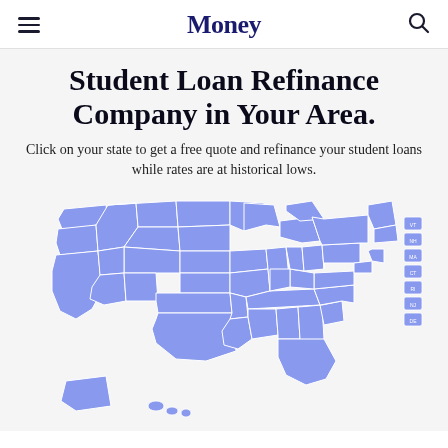Money
Student Loan Refinance Company in Your Area.
Click on your state to get a free quote and refinance your student loans while rates are at historical lows.
[Figure (map): Interactive clickable map of the United States showing all 50 states in blue/periwinkle color with white borders, used to navigate to state-specific student loan refinance information. Small state boxes for northeastern states are shown on the right side.]